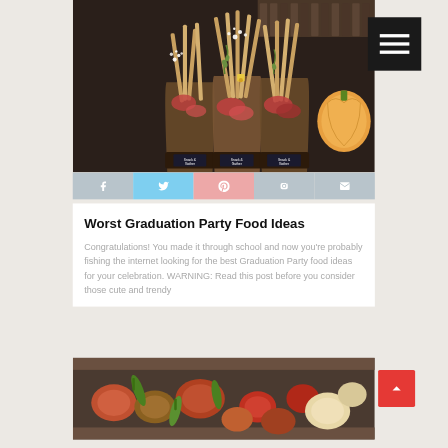[Figure (photo): Overhead photo of charcuterie/appetizer cups filled with breadsticks, meats, cheeses, and floral decorations on a dark background]
[Figure (infographic): Social sharing bar with Facebook (grey), Twitter (light blue), Pinterest (pink/salmon), Instagram (grey), Email (grey) icons]
Worst Graduation Party Food Ideas
Congratulations! You made it through school and now you're probably fishing the internet looking for the best Graduation Party food ideas for your celebration. WARNING: Read this post before you consider those cute and trendy
[Figure (photo): Partial photo of a food tray with roasted vegetables and other party foods]